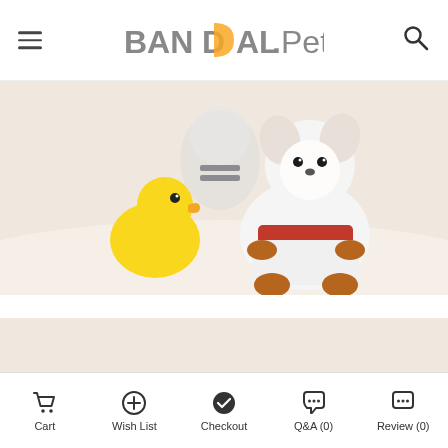BANDAL.Pet
[Figure (photo): A small white Pomeranian dog dressed in a white and red pet outfit with brown shoes/boots, posing next to a yellow rubber duck toy on a white fluffy surface.]
[Figure (photo): Partial view of a small cat or dog on a beige/cream background, showing the lower portion of the animal.]
Cart  Wish List  Checkout  Q&A (0)  Review (0)